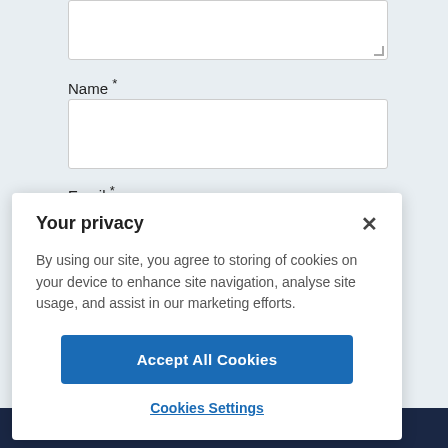Name *
Email *
Your privacy
By using our site, you agree to storing of cookies on your device to enhance site navigation, analyse site usage, and assist in our marketing efforts.
Accept All Cookies
Cookies Settings